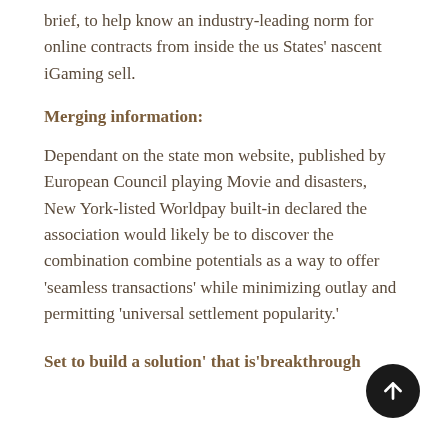brief, to help know an industry-leading norm for online contracts from inside the us States' nascent iGaming sell.
Merging information:
Dependant on the state mon website, published by European Council playing Movie and disasters, New York-listed Worldpay built-in declared the association would likely be to discover the combination combine potentials as a way to offer 'seamless transactions' while minimizing outlay and permitting 'universal settlement popularity.'
Set to build a solution' that is'breakthrough